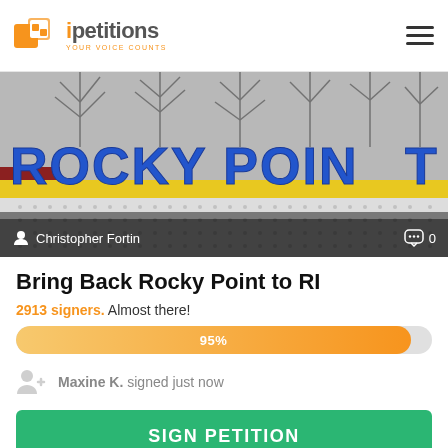ipetitions YOUR VOICE COUNTS
[Figure (photo): Photo of Rocky Point amusement park sign reading 'ROCKY POINT' in large blue letters on a white lattice background with bare winter trees and grey sky behind it. Author credit: Christopher Fortin. Comment count: 0.]
Bring Back Rocky Point to RI
2913 signers. Almost there!
[Figure (bar-chart): Petition progress]
Maxine K. signed just now
SIGN PETITION